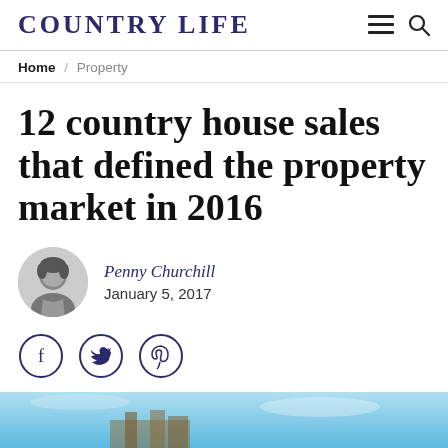COUNTRY LIFE
Home / Property
12 country house sales that defined the property market in 2016
Penny Churchill
January 5, 2017
[Figure (photo): Circular author photo of Penny Churchill, black and white headshot]
[Figure (photo): Hero image strip at bottom, blue sky with partial building visible]